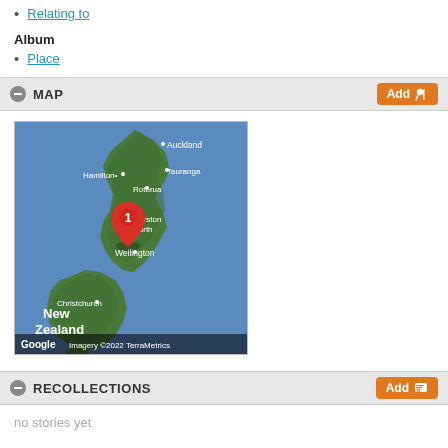Relating to
Album
Place
MAP
[Figure (map): Map of New Zealand showing North and South Islands with city labels (Auckland, Hamilton, Tauranga, Rotorua, Palmerston North, Wellington, Christchurch) and a red map pin marker with number 1 near Palmerston North/Wellington area. Google Maps imagery ©2022 TerraMetrics.]
RECOLLECTIONS
no stories yet